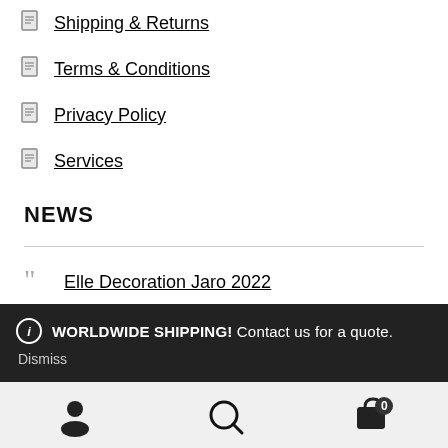Shipping & Returns
Terms & Conditions
Privacy Policy
Services
NEWS
Elle Decoration Jaro 2022
WORLDWIDE SHIPPING! Contact us for a quote.
Dismiss